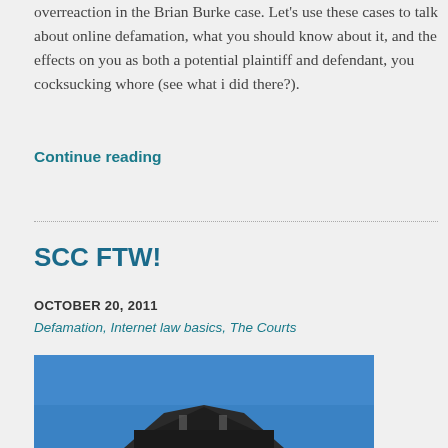overreaction in the Brian Burke case. Let's use these cases to talk about online defamation, what you should know about it, and the effects on you as both a potential plaintiff and defendant, you cocksucking whore (see what i did there?).
Continue reading
SCC FTW!
OCTOBER 20, 2011
Defamation, Internet law basics, The Courts
[Figure (photo): Blue sky with a dark-roofed building/structure visible at the bottom of the image]